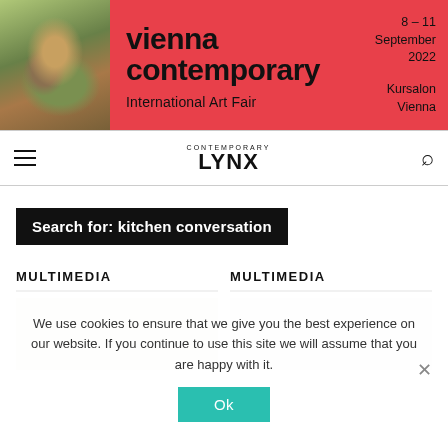[Figure (illustration): Vienna Contemporary International Art Fair banner with red/coral background, sculptural artwork image on the left, large bold title 'vienna contemporary', date '8 – 11 September 2022', subtitle 'International Art Fair', location 'Kursalon Vienna']
CONTEMPORARY LYNX — navigation header with hamburger menu, logo, and search icon
Search for: kitchen conversation
MULTIMEDIA
MULTIMEDIA
We use cookies to ensure that we give you the best experience on our website. If you continue to use this site we will assume that you are happy with it.